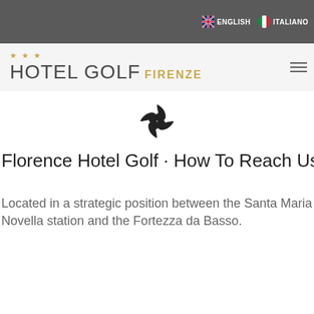ENGLISH   ITALIANO
HOTEL GOLF FIRENZE
[Figure (logo): Stylized spinning vortex/pinwheel logo mark in dark color]
Florence Hotel Golf · How To Reach Us
Located in a strategic position between the Santa Maria Novella station and the Fortezza da Basso.